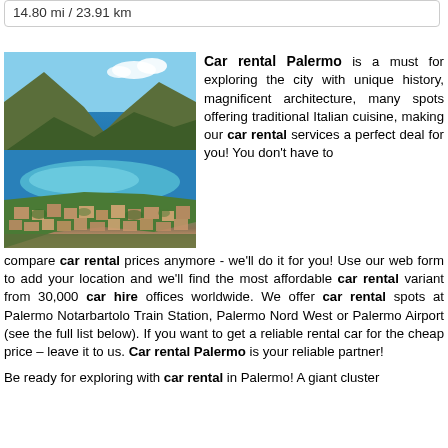14.80 mi / 23.91 km
[Figure (photo): Aerial view of Palermo coastline showing a bay with turquoise water, sandy beach, mountains, and densely built city with residential buildings and green hills]
Car rental Palermo is a must for exploring the city with unique history, magnificent architecture, many spots offering traditional Italian cuisine, making our car rental services a perfect deal for you! You don't have to compare car rental prices anymore - we'll do it for you! Use our web form to add your location and we'll find the most affordable car rental variant from 30,000 car hire offices worldwide. We offer car rental spots at Palermo Notarbartolo Train Station, Palermo Nord West or Palermo Airport (see the full list below). If you want to get a reliable rental car for the cheap price – leave it to us. Car rental Palermo is your reliable partner!
Be ready for exploring with car rental in Palermo! A giant cluster